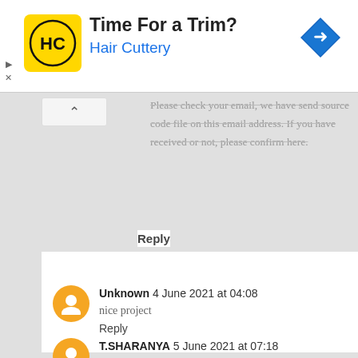[Figure (other): Hair Cuttery advertisement banner with logo, text 'Time For a Trim?' and 'Hair Cuttery', and navigation arrow icon]
Please check your email, we have send source code file on this email address. If you have received or not, please confirm here.
Reply
Unknown  4 June 2021 at 04:08
nice project
Reply
T.SHARANYA  5 June 2021 at 07:18